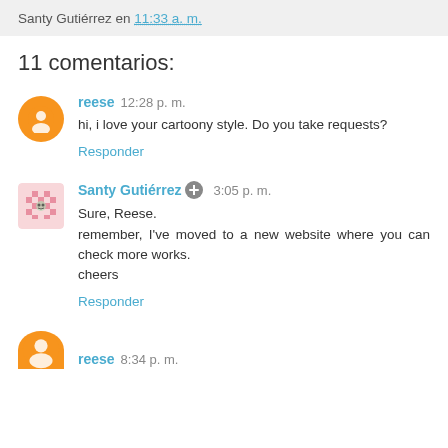Santy Gutiérrez en 11:33 a. m.
11 comentarios:
reese 12:28 p. m.
hi, i love your cartoony style. Do you take requests?
Responder
Santy Gutiérrez 3:05 p. m.
Sure, Reese.
remember, I've moved to a new website where you can check more works.
cheers
Responder
reese 8:34 p. m.